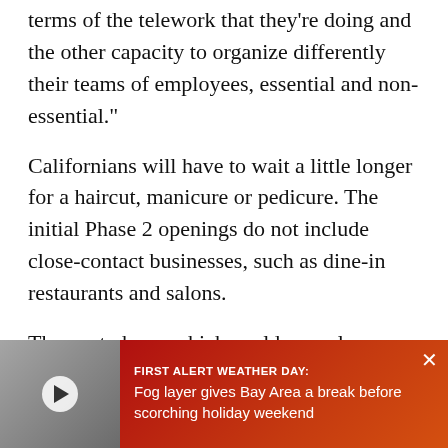terms of the telework that they're doing and the other capacity to organize differently their teams of employees, essential and non-essential."
Californians will have to wait a little longer for a haircut, manicure or pedicure. The initial Phase 2 openings do not include close-contact businesses, such as dine-in restaurants and salons.
The next phase, which could see salons, gyms, movie theaters and churches reopen, may be months away. Phase 4 would end all restrictions and allow for large gatherings at concerts and sporting events.
Newsom also noted [that] government varianc[e] from county to cou[nty] directors from six [...]
[Figure (other): First Alert Weather Day notification banner with video thumbnail and close button. Text reads: 'FIRST ALERT WEATHER DAY: Fog layer gives Bay Area a break before scorching holiday weekend']